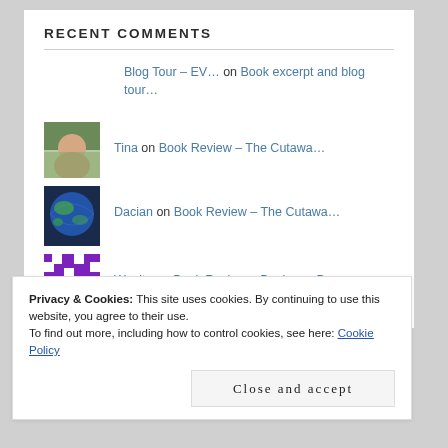RECENT COMMENTS
Blog Tour – EV… on Book excerpt and blog tour…
Tina on Book Review – The Cutawa…
Dacian on Book Review – The Cutawa…
Wanita on Book Review – Bookman De…
Privacy & Cookies: This site uses cookies. By continuing to use this website, you agree to their use.
To find out more, including how to control cookies, see here: Cookie Policy
Close and accept